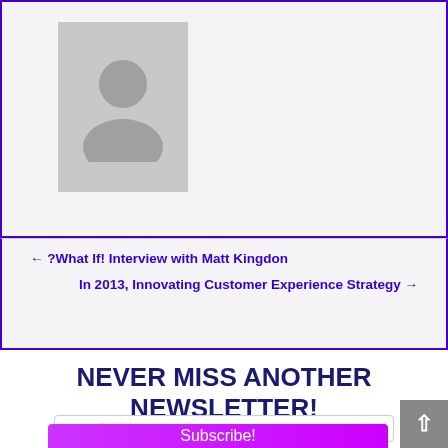[Figure (photo): Grey avatar/profile placeholder silhouette icon in a light grey box]
← ?What If! Interview with Matt Kingdon
In 2013, Innovating Customer Experience Strategy →
NEVER MISS ANOTHER NEWSLETTER!
Email Address
Subscribe!